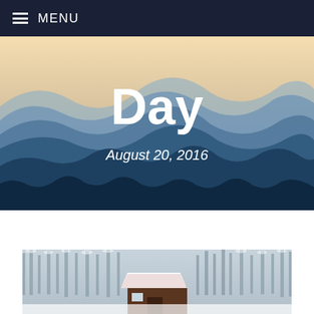MENU
[Figure (photo): Blue layered mountain ranges with hazy atmosphere at dusk/dawn, warm sky at top]
Day
August 20, 2016
[Figure (photo): Snow-covered forest scene with a rustic wooden cabin/shelter with red roof covered in snow, surrounded by bare and evergreen trees in winter]